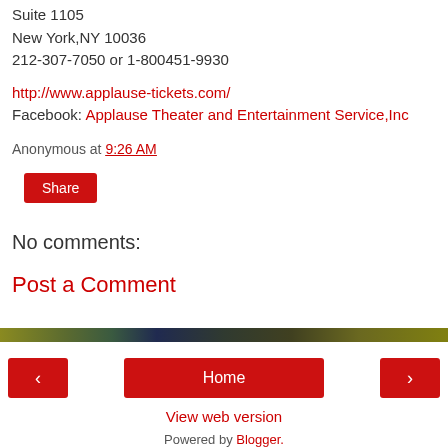Suite 1105
New York,NY 10036
212-307-7050 or 1-800451-9930
http://www.applause-tickets.com/
Facebook: Applause Theater and Entertainment Service,Inc
Anonymous at 9:26 AM
Share
No comments:
Post a Comment
[Figure (other): Decorative color gradient bar spanning full width]
< Home >
View web version
Powered by Blogger.